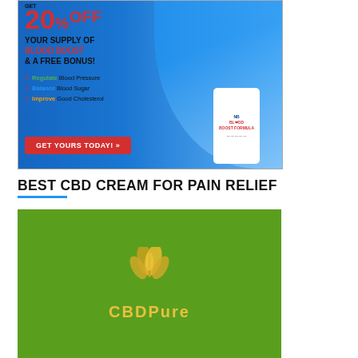[Figure (advertisement): Blood Boost supplement advertisement: GET 20% OFF YOUR SUPPLY OF BLOOD BOOST & A FREE BONUS! Checkmarks: Regulate Blood Pressure, Balance Blood Sugar, Improve Good Cholesterol. GET YOURS TODAY button. Bottle image on right. Doctor/woman in background.]
BEST CBD CREAM FOR PAIN RELIEF
[Figure (advertisement): CBDPure advertisement on green background with golden cannabis leaf logo and CBDPure text.]